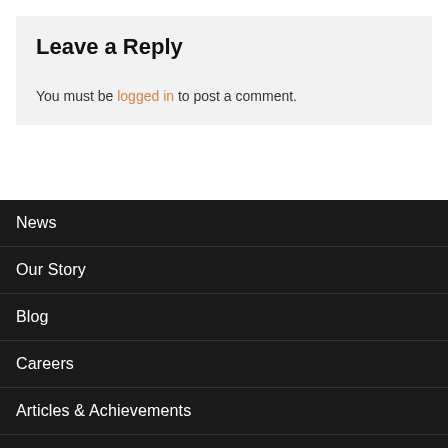Leave a Reply
You must be logged in to post a comment.
News
Our Story
Blog
Careers
Articles & Achievements
Locations
Privacy